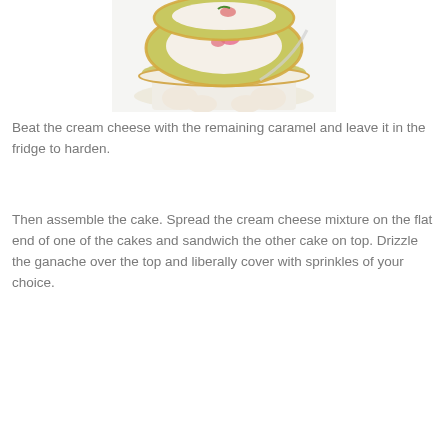[Figure (photo): Stacked decorative plates with floral pattern and gold trim, green and white coloring, photographed from above on a white surface]
Beat the cream cheese with the remaining caramel and leave it in the fridge to harden.
Then assemble the cake. Spread the cream cheese mixture on the flat end of one of the cakes and sandwich the other cake on top. Drizzle the ganache over the top and liberally cover with sprinkles of your choice.